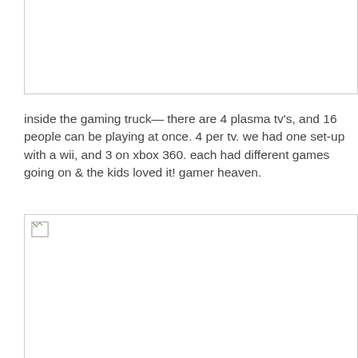[Figure (photo): Top image placeholder — broken/missing image with border outline]
inside the gaming truck— there are 4 plasma tv's, and 16 people can be playing at once. 4 per tv. we had one set-up with a wii, and 3 on xbox 360. each had different games going on & the kids loved it! gamer heaven.
[Figure (photo): Bottom image placeholder — broken/missing image with border outline and broken image icon in top-left corner]